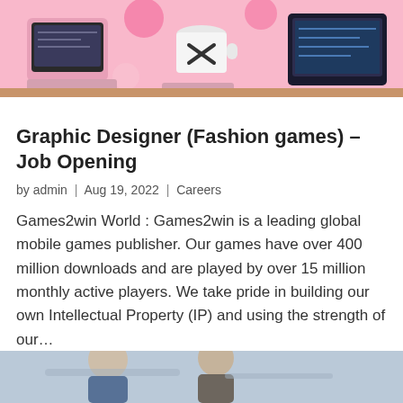[Figure (illustration): Colorful illustration of a gaming/design workspace with pink tones, showing a coffee cup with X mark, laptop, and gaming peripherals]
Graphic Designer (Fashion games) – Job Opening
by admin | Aug 19, 2022 | Careers
Games2win World : Games2win is a leading global mobile games publisher. Our games have over 400 million downloads and are played by over 15 million monthly active players. We take pride in building our own Intellectual Property (IP) and using the strength of our…
[Figure (photo): Partial photo at bottom of page, appears to show people in a professional setting]